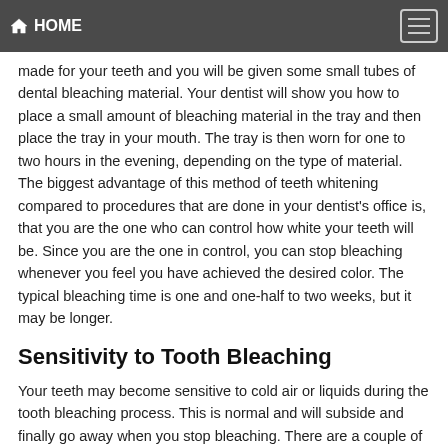HOME
made for your teeth and you will be given some small tubes of dental bleaching material. Your dentist will show you how to place a small amount of bleaching material in the tray and then place the tray in your mouth. The tray is then worn for one to two hours in the evening, depending on the type of material. The biggest advantage of this method of teeth whitening compared to procedures that are done in your dentist's office is, that you are the one who can control how white your teeth will be. Since you are the one in control, you can stop bleaching whenever you feel you have achieved the desired color. The typical bleaching time is one and one-half to two weeks, but it may be longer.
Sensitivity to Tooth Bleaching
Your teeth may become sensitive to cold air or liquids during the tooth bleaching process. This is normal and will subside and finally go away when you stop bleaching. There are a couple of things you can do to decrease this sensitivity if it arises during the tooth whitening process. One is to only bleach every other night. The other is to have your dentist prescribe for you a fluoride gel that you can place in your custom bleach trays every other evening. The